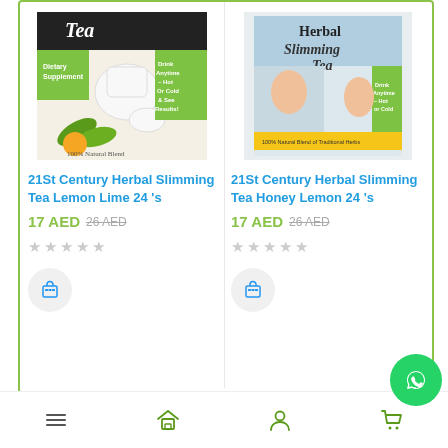[Figure (photo): Product image of 21St Century Herbal Slimming Tea Lemon Lime 24's box showing teapot and cups with green and orange design]
21St Century Herbal Slimming Tea Lemon Lime 24’s
17 AED  26 AED
[Figure (photo): Product image of 21St Century Herbal Slimming Tea Honey Lemon 24's box showing people and tea imagery]
21St Century Herbal Slimming Tea Honey Lemon 24’s
17 AED  26 AED
Bottom navigation bar with menu, home, profile, and cart icons